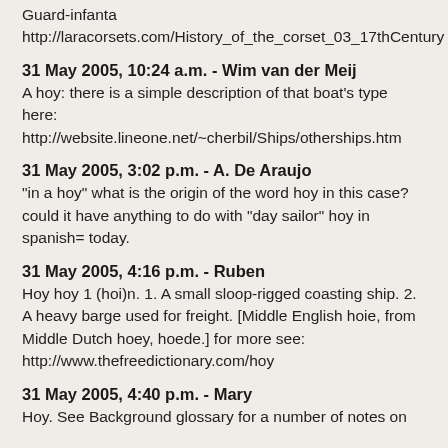Guard-infanta
http://laracorsets.com/History_of_the_corset_03_17thCentury
31 May 2005, 10:24 a.m. - Wim van der Meij
A hoy: there is a simple description of that boat's type here:
http://website.lineone.net/~cherbil/Ships/otherships.htm
31 May 2005, 3:02 p.m. - A. De Araujo
"in a hoy" what is the origin of the word hoy in this case? could it have anything to do with "day sailor" hoy in spanish= today.
31 May 2005, 4:16 p.m. - Ruben
Hoy hoy 1 (hoi)n. 1. A small sloop-rigged coasting ship. 2. A heavy barge used for freight. [Middle English hoie, from Middle Dutch hoey, hoede.] for more see:
http://www.thefreedictionary.com/hoy
31 May 2005, 4:40 p.m. - Mary
Hoy. See Background glossary for a number of notes on